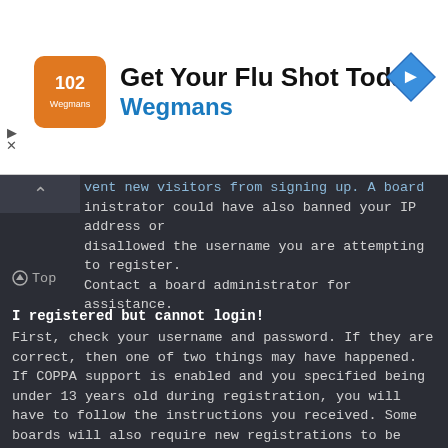[Figure (infographic): Advertisement banner for Wegmans flu shot with logo, title 'Get Your Flu Shot Today', subtitle 'Wegmans', and navigation icon]
vent new visitors from signing up. A board administrator could have also banned your IP address or disallowed the username you are attempting to register. Contact a board administrator for assistance.
⊙ Top
I registered but cannot login!
First, check your username and password. If they are correct, then one of two things may have happened. If COPPA support is enabled and you specified being under 13 years old during registration, you will have to follow the instructions you received. Some boards will also require new registrations to be activated, either by yourself or by an administrator before you can logon; this information was present during registration. If you were sent an email, follow the instructions. If you did not receive an email, you may have provided an incorrect email address or the email may